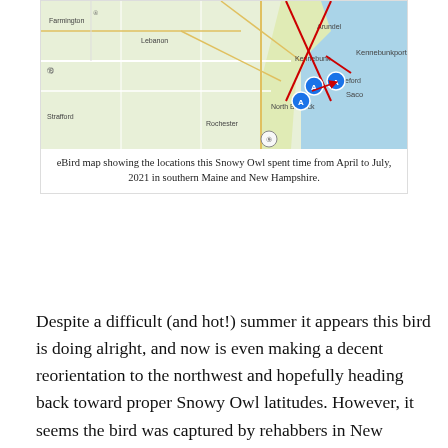[Figure (map): eBird map showing locations a Snowy Owl visited from April to July 2021 in southern Maine and New Hampshire, with red crossing lines and blue location markers near the coast.]
eBird map showing the locations this Snowy Owl spent time from April to July, 2021 in southern Maine and New Hampshire.
Despite a difficult (and hot!) summer it appears this bird is doing alright, and now is even making a decent reorientation to the northwest and hopefully heading back toward proper Snowy Owl latitudes. However, it seems the bird was captured by rehabbers in New Hampshire and taken into their care. I truly wish this owl the best, and hope it can be released and continue northward. The composite photo above compares the owl from Pennellville (1), Drakes Beach (2), and New Hampshire (3) and the map shows the path of this owl's summer travels. I shamelessly grabbed those images off eBird/Macauley